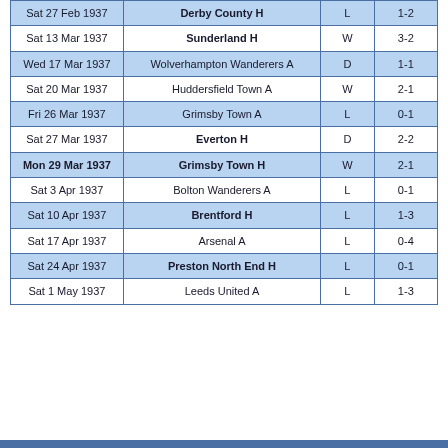| Date | Match | Result | Score |
| --- | --- | --- | --- |
| Sat 27 Feb 1937 | Derby County H | L | 1-2 |
| Sat 13 Mar 1937 | Sunderland H | W | 3-2 |
| Wed 17 Mar 1937 | Wolverhampton Wanderers A | D | 1-1 |
| Sat 20 Mar 1937 | Huddersfield Town A | W | 2-1 |
| Fri 26 Mar 1937 | Grimsby Town A | L | 0-1 |
| Sat 27 Mar 1937 | Everton H | D | 2-2 |
| Mon 29 Mar 1937 | Grimsby Town H | W | 2-1 |
| Sat 3 Apr 1937 | Bolton Wanderers A | L | 0-1 |
| Sat 10 Apr 1937 | Brentford H | L | 1-3 |
| Sat 17 Apr 1937 | Arsenal A | L | 0-4 |
| Sat 24 Apr 1937 | Preston North End H | L | 0-1 |
| Sat 1 May 1937 | Leeds United A | L | 1-3 |